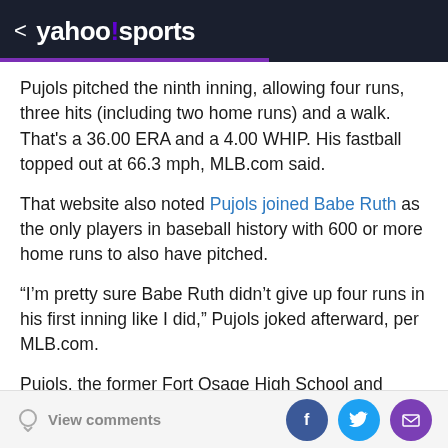< yahoo!sports
Pujols pitched the ninth inning, allowing four runs, three hits (including two home runs) and a walk. That's a 36.00 ERA and a 4.00 WHIP. His fastball topped out at 66.3 mph, MLB.com said.
That website also noted Pujols joined Babe Ruth as the only players in baseball history with 600 or more home runs to also have pitched.
“I’m pretty sure Babe Ruth didn’t give up four runs in his first inning like I did,” Pujols joked afterward, per MLB.com.
Pujols, the former Fort Osage High School and Maple
View comments